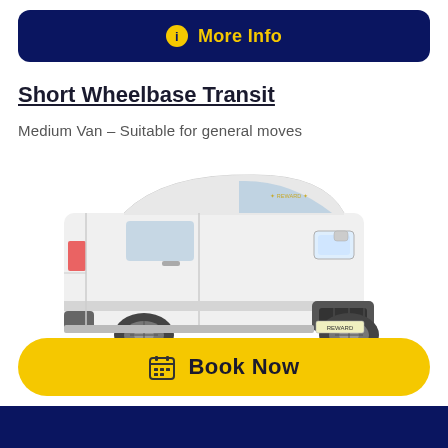More Info
Short Wheelbase Transit
Medium Van – Suitable for general moves
[Figure (photo): A white Ford Transit short wheelbase van photographed from a front three-quarter angle, with a company logo on the windscreen and a number plate reading 'REWARD'.]
Book Now